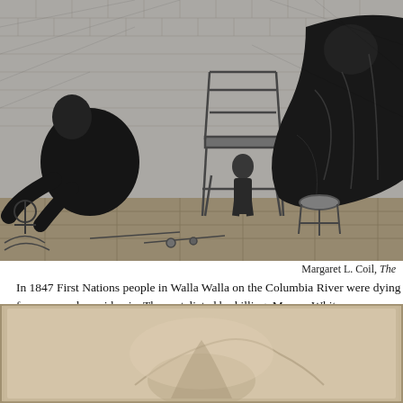[Figure (illustration): Black and white engraving showing a scene with figures, a wooden chair, and a stool on a wooden floor, with brick wall background. Historical illustration depicting an indoor scene with people in 19th century clothing.]
Margaret L. Coil, The
In 1847 First Nations people in Walla Walla on the Columbia River were dying from a measles epidemic. They retaliated by killing Marcus Whitman, an American doctor and missionary. As a result the Columbia River was closed to commerce and goods from the interior were brought to Fort Langley via the Tikwalus Trail in 1848.
[Figure (photo): Sepia/beige toned old photograph, partially visible at bottom of page, showing a figure or landscape, details unclear.]